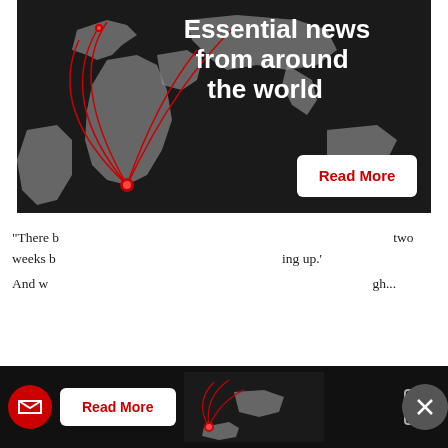[Figure (infographic): Advertisement banner with dark background map showing red arc lines from southern Africa/South America to multiple destinations, with title 'Essential news from around the world' and a 'Read More' button]
“There b... two weeks b... ing up.’ And w... gh...
[Figure (infographic): Bottom sticky ad bar with red circular logo, 'Read More' button, partial map with red arcs, and X close button]